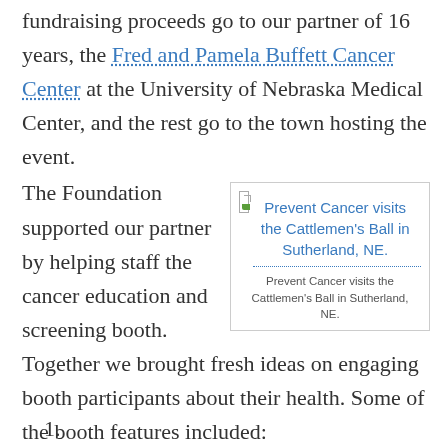fundraising proceeds go to our partner of 16 years, the Fred and Pamela Buffett Cancer Center at the University of Nebraska Medical Center, and the rest go to the town hosting the event.
[Figure (other): Image placeholder with link title 'Prevent Cancer visits the Cattlemen's Ball in Sutherland, NE.' and caption 'Prevent Cancer visits the Cattlemen's Ball in Sutherland, NE.']
The Foundation supported our partner by helping staff the cancer education and screening booth. Together we brought fresh ideas on engaging booth participants about their health. Some of the booth features included:
1.